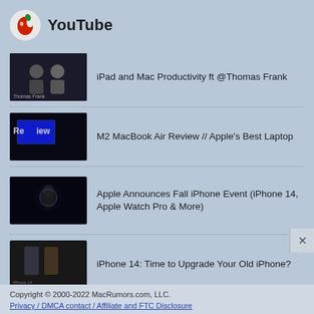YouTube
iPad and Mac Productivity ft @Thomas Frank
M2 MacBook Air Review // Apple's Best Laptop
Apple Announces Fall iPhone Event (iPhone 14, Apple Watch Pro & More)
iPhone 14: Time to Upgrade Your Old iPhone?
Apple's Foldable iPhone (The MacRumors Show EP 19)
Copyright © 2000-2022 MacRumors.com, LLC.
Privacy / DMCA contact / Affiliate and FTC Disclosure